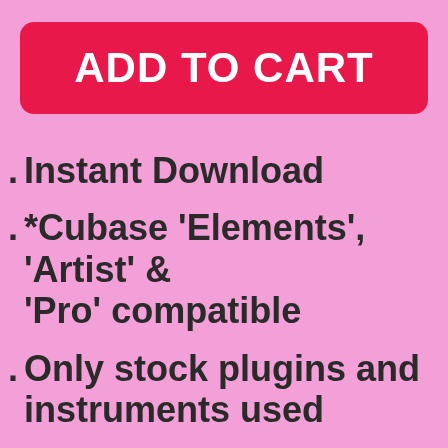ADD TO CART
Instant Download
*Cubase 'Elements', 'Artist' & 'Pro' compatible
Only stock plugins and instruments used
Tempo/key metadata also St...